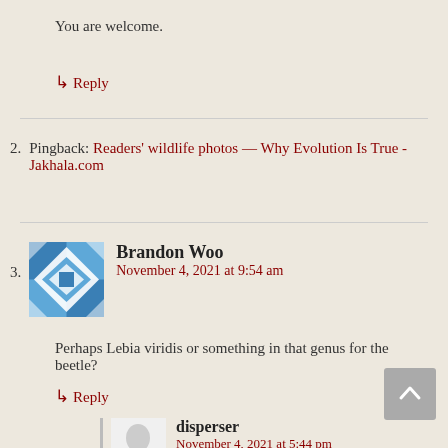You are welcome.
↳ Reply
2. Pingback: Readers' wildlife photos — Why Evolution Is True - Jakhala.com
3. Brandon Woo
November 4, 2021 at 9:54 am
Perhaps Lebia viridis or something in that genus for the beetle?
↳ Reply
disperser
November 4, 2021 at 5:44 pm